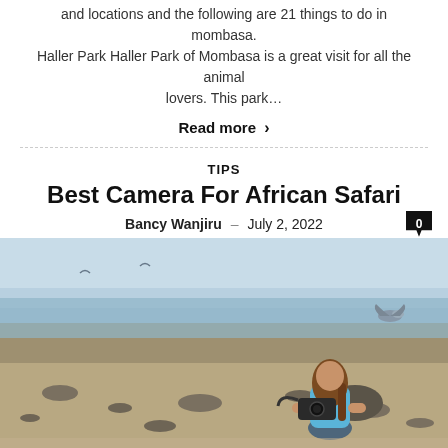and locations and the following are 21 things to do in mombasa. Haller Park Haller Park of Mombasa is a great visit for all the animal lovers. This park…
Read more >
TIPS
Best Camera For African Safari
Bancy Wanjiru – July 2, 2022
[Figure (photo): A woman with long hair wearing a blue top crouches on a sandy beach holding a camera, photographing toward the water. A bird is visible in the background on the right.]